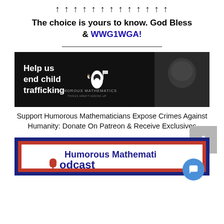The choice is yours to know. God Bless & WWG1WGA!
[Figure (illustration): Black banner ad reading 'Help us end child trafficking' with Humorous Mathematics logo (penguin with flag) and a dark photo of a child's face]
Support Humorous Mathematicians Expose Crimes Against Humanity: Donate On Patreon & Receive Exclusives
[Figure (illustration): Humorous Mathematics Podcast banner with dark blue and red border, red and dark blue text on white background saying 'Humorous Mathematics Podcast' with a microphone icon, partially cropped]